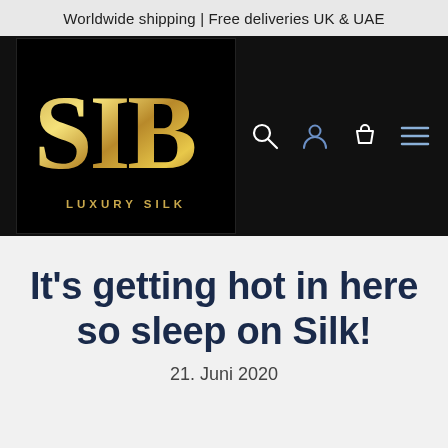Worldwide shipping | Free deliveries UK & UAE
[Figure (logo): SIB Luxury Silk logo — large gold 'SIB' letters on black background with 'LUXURY SILK' subtitle, navigation bar with search, user, cart and menu icons on dark background]
It’s getting hot in here so sleep on Silk!
21. Juni 2020